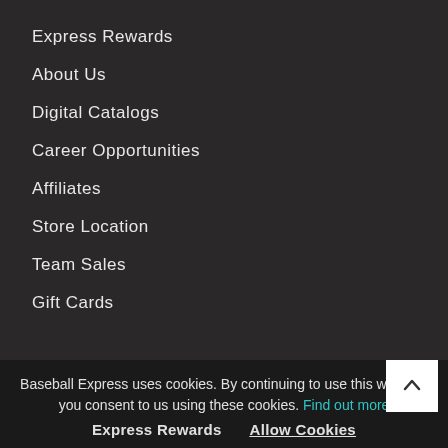Express Rewards
About Us
Digital Catalogs
Career Opportunities
Affiliates
Store Location
Team Sales
Gift Cards
Insider Blog
Baseball Express uses cookies. By continuing to use this website, you consent to us using these cookies. Find out more
Express Rewards   Allow Cookies